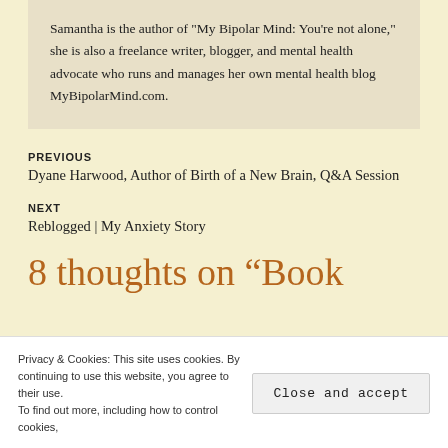Samantha is the author of "My Bipolar Mind: You're not alone," she is also a freelance writer, blogger, and mental health advocate who runs and manages her own mental health blog MyBipolarMind.com.
PREVIOUS
Dyane Harwood, Author of Birth of a New Brain, Q&A Session
NEXT
Reblogged | My Anxiety Story
8 thoughts on “Book
Privacy & Cookies: This site uses cookies. By continuing to use this website, you agree to their use. To find out more, including how to control cookies,